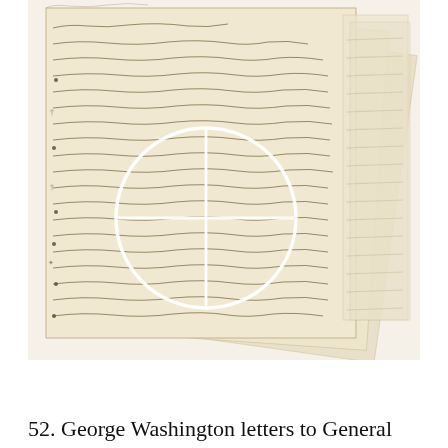[Figure (photo): Photograph of multiple overlapping aged handwritten manuscript pages with cursive script in brown/sepia ink on yellowed parchment. The topmost page has a white circle with a crosshair/plus symbol overlaid on the center-left area, highlighting a detail of the handwriting.]
52. George Washington letters to General